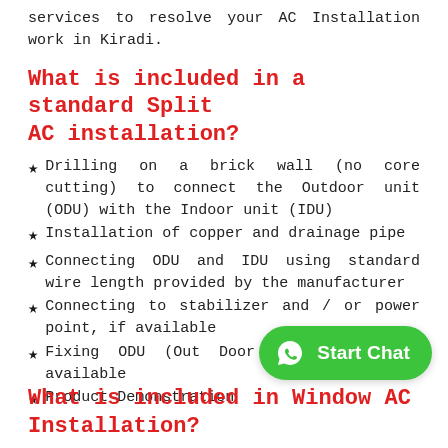services to resolve your AC Installation work in Kiradi.
What is included in a standard Split AC installation?
Drilling on a brick wall (no core cutting) to connect the Outdoor unit (ODU) with the Indoor unit (IDU)
Installation of copper and drainage pipe
Connecting ODU and IDU using standard wire length provided by the manufacturer
Connecting to stabilizer and / or power point, if available
Fixing ODU (Out Door Unit) stand if available
Product Demonstration
[Figure (other): WhatsApp Start Chat button (green rounded rectangle with WhatsApp icon)]
What is included in Window AC Installation?